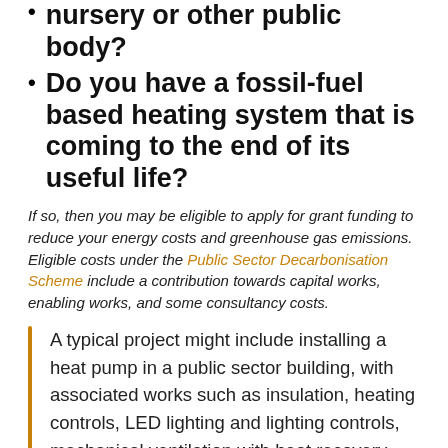nursery or other public body?
Do you have a fossil-fuel based heating system that is coming to the end of its useful life?
If so, then you may be eligible to apply for grant funding to reduce your energy costs and greenhouse gas emissions. Eligible costs under the Public Sector Decarbonisation Scheme include a contribution towards capital works, enabling works, and some consultancy costs.
A typical project might include installing a heat pump in a public sector building, with associated works such as insulation, heating controls, LED lighting and lighting controls, mechanical ventilation with heat recovery.
What can we do to help